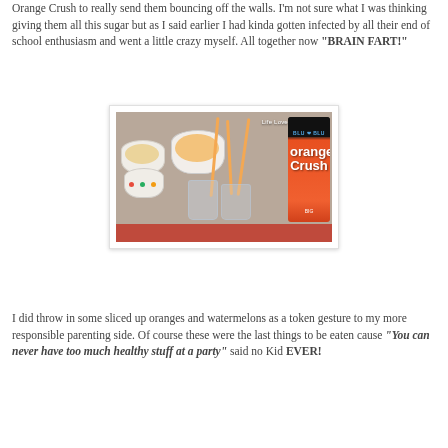Orange Crush to really send them bouncing off the walls. I'm not sure what I was thinking giving them all this sugar but as I said earlier I had kinda gotten infected by all their end of school enthusiasm and went a little crazy myself. All together now "BRAIN FART!"
[Figure (photo): Party snack setup on a red tray: bowls of orange slices, Cheetos/orange snacks, gummy candies, clear glasses with orange straws, and an Orange Crush can in the background. Watermark reads 'Life Love and Hiccups'.]
I did throw in some sliced up oranges and watermelons as a token gesture to my more responsible parenting side. Of course these were the last things to be eaten cause "You can never have too much healthy stuff at a party" said no Kid EVER!